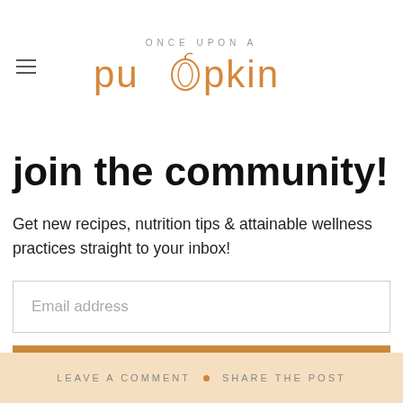ONCE UPON A pumpkin
join the community!
Get new recipes, nutrition tips & attainable wellness practices straight to your inbox!
Email address
Subscribe
LEAVE A COMMENT  •  SHARE THE POST